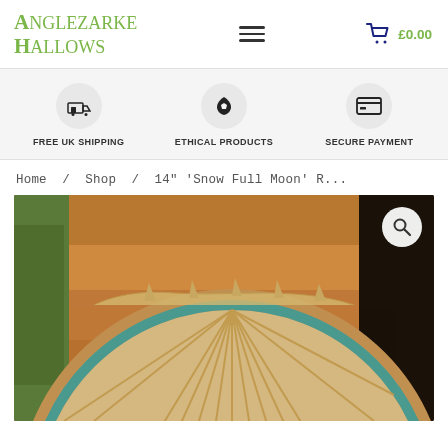Anglezarke Hallows — navigation header with logo, menu, and cart showing £0.00
FREE UK SHIPPING | ETHICAL PRODUCTS | SECURE PAYMENT
Home / Shop / 14" 'Snow Full Moon' R...
[Figure (photo): Close-up photo of a handmade shamanic drum (14 inch Snow Full Moon drum) with rawhide lacing and teal/green wrapping, placed against a wooden background with green foliage.]